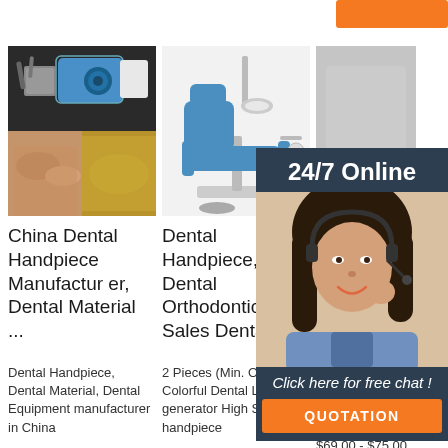[Figure (screenshot): Orange button/bar top right corner, partial UI element]
[Figure (photo): Product image for China Dental Handpiece Manufacturer - dark background with dental handpiece device on top, hands with dental materials on bottom]
[Figure (photo): Product image for Dental Handpiece, Dental Orthodontic - dental chair with blue seat on white background]
[Figure (photo): Product image for Handpiece, Dental Handpiece - Fosun Shen Medical - grey background partial]
China Dental Handpiece Manufacturer, Dental Material ...
Dental Handpiece, Dental Orthodontic - Hot Sales Dental ...
Handpiece, Dental Handpiece - Fosun Shen Medical ...
Dental Handpiece, Dental Material, Dental Equipment manufacturer in China
2 Pieces (Min. Order) Colorful Dental Led generator High Speed handpiece
Hot Sale! Dental low speed dental 201 contra angle handpiece dental. $69.00 - $75.00
[Figure (screenshot): 24/7 Online chat agent overlay widget with orange QUOTATION button and 'Click here for free chat!' text]
[Figure (logo): TOP watermark logo with orange dots]